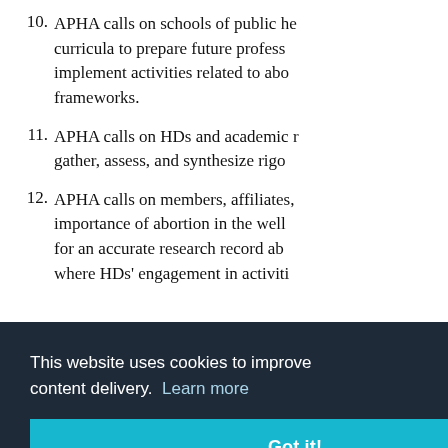10. APHA calls on schools of public he… curricula to prepare future profess… implement activities related to abo… frameworks.
11. APHA calls on HDs and academic r… gather, assess, and synthesize rigo…
12. APHA calls on members, affiliates,… importance of abortion in the well… for an accurate research record ab… where HDs' engagement in activiti…
This website uses cookies to improve content delivery. Learn more
Got it!
procedures in non-hospital-affiliated d…